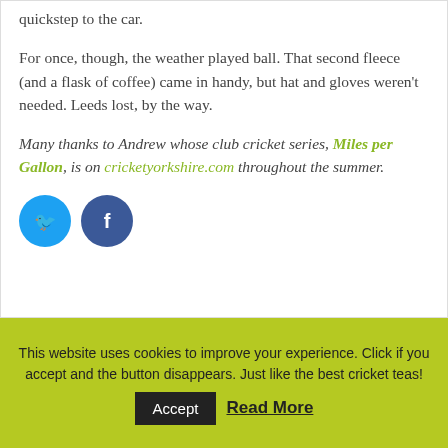quickstep to the car.
For once, though, the weather played ball. That second fleece (and a flask of coffee) came in handy, but hat and gloves weren't needed. Leeds lost, by the way.
Many thanks to Andrew whose club cricket series, Miles per Gallon, is on cricketyorkshire.com throughout the summer.
[Figure (other): Twitter and Facebook social sharing buttons — two circular icons, blue Twitter bird and dark blue Facebook f.]
This website uses cookies to improve your experience. Click if you accept and the button disappears. Just like the best cricket teas!